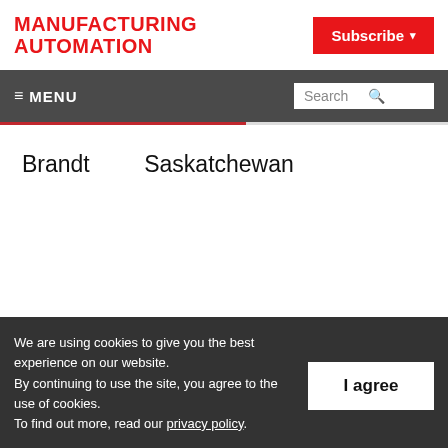MANUFACTURING AUTOMATION
Subscribe
≡ MENU   Search
Brandt   Saskatchewan
We are using cookies to give you the best experience on our website.
By continuing to use the site, you agree to the use of cookies.
To find out more, read our privacy policy.